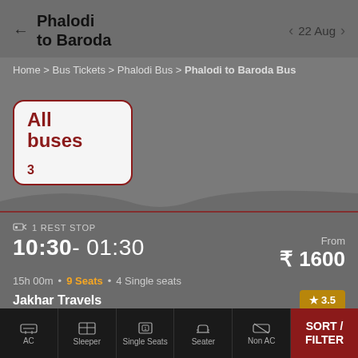Phalodi to Baroda
22 Aug
Home > Bus Tickets > Phalodi Bus > Phalodi to Baroda Bus
All buses
3
1 REST STOP
10:30- 01:30
From ₹ 1600
15h 00m • 9 Seats • 4 Single seats
Jakhar Travels
★ 3.5
NON A/C Seater / Sleeper (2+1)
AC | Sleeper | Single Seats | Seater | Non AC | SORT / FILTER